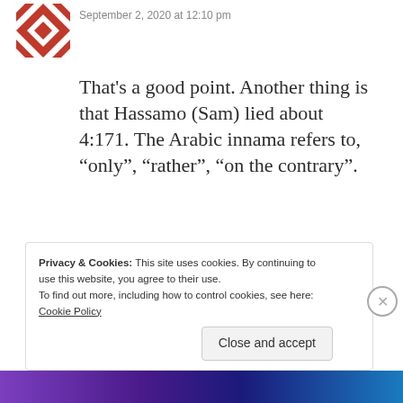[Figure (illustration): Red and white geometric/quilt pattern avatar icon]
September 2, 2020 at 12:10 pm
That's a good point. Another thing is that Hassamo (Sam) lied about 4:171. The Arabic innama refers to, “only”, “rather”, “on the contrary”.
Can you confirm these translations?
★ Like
Privacy & Cookies: This site uses cookies. By continuing to use this website, you agree to their use.
To find out more, including how to control cookies, see here: Cookie Policy
Close and accept